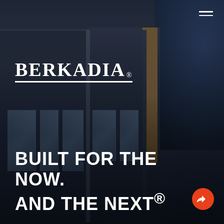[Figure (photo): Dark exterior photograph of a modern commercial building with angular architectural lines, large windows, and a dramatic dark blue sky with clouds in the background. The building features dark metal panels, a prominent vertical column, and large glass window panels.]
BERKADIA®
BUILT FOR THE NOW. AND THE NEXT®